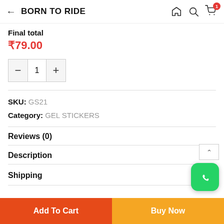← BORN TO RIDE
Final total
₹79.00
— 1 +
SKU: GS21
Category: GEL STICKERS
Reviews (0)
Description
Shipping
[Figure (logo): WhatsApp icon — green rounded square with white speech bubble]
Add To Cart
Buy Now